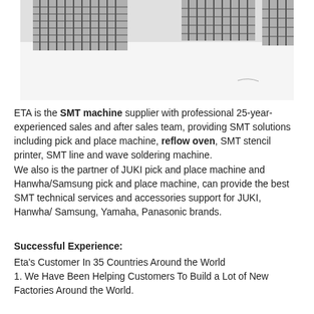[Figure (photo): Black and white photograph of industrial SMT machinery/equipment rows in a factory setting, showing metal rack-like structures against a white background.]
ETA is the SMT machine supplier with professional 25-year-experienced sales and after sales team, providing SMT solutions including pick and place machine, reflow oven, SMT stencil printer, SMT line and wave soldering machine.
We also is the partner of JUKI pick and place machine and Hanwha/Samsung pick and place machine, can provide the best SMT technical services and accessories support for JUKI, Hanwha/ Samsung, Yamaha, Panasonic brands.
Successful Experience:
Eta's Customer In 35 Countries Around the World
1. We Have Been Helping Customers To Build a Lot of New Factories Around the World.